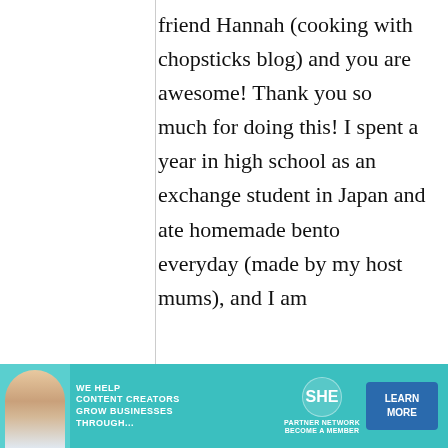friend Hannah (cooking with chopsticks blog) and you are awesome! Thank you so much for doing this! I spent a year in high school as an exchange student in Japan and ate homemade bento everyday (made by my host mums), and I am
[Figure (infographic): Advertisement banner: teal background with woman at laptop, SHE Partner Network logo, text 'We help content creators grow businesses through...' and a 'Learn More / Become a Member' button]